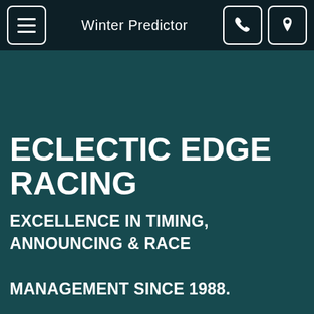Winter Predictor
ECLECTIC EDGE RACING
EXCELLENCE IN TIMING, ANNOUNCING & RACE MANAGEMENT SINCE 1988.